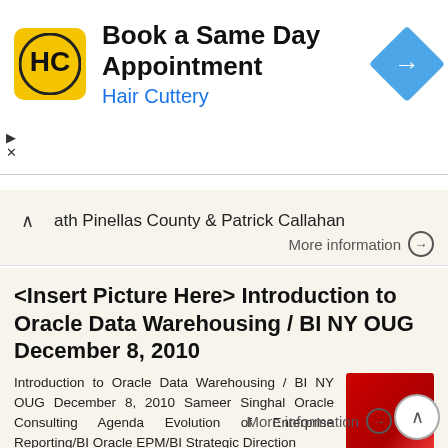[Figure (screenshot): Hair Cuttery advertisement banner: 'Book a Same Day Appointment - Hair Cuttery' with logo and blue navigation arrow icon]
path Pinellas County & Patrick Callahan
More information →
<Insert Picture Here> Introduction to Oracle Data Warehousing / BI NY OUG December 8, 2010
Introduction to Oracle Data Warehousing / BI NY OUG December 8, 2010 Sameer Singhal Oracle Consulting Agenda Evolution of Enterprise Reporting/BI Oracle EPM/BI Strategic Direction
More information →